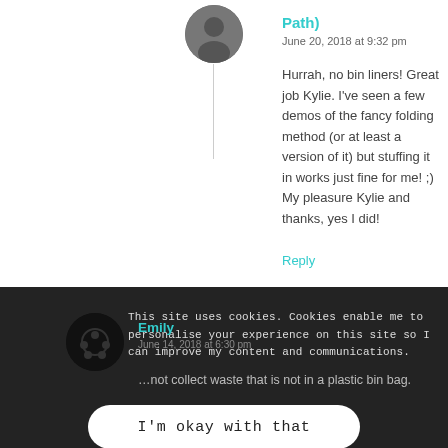Path)
June 20, 2018 at 9:32 pm
Hurrah, no bin liners! Great job Kylie. I've seen a few demos of the fancy folding method (or at least a version of it) but stuffing it in works just fine for me! ;) My pleasure Kylie and thanks, yes I did!
Reply
This site uses cookies. Cookies enable me to personalise your experience on this site so I can improve my content and communications.
I'm okay with that
Emily
June 14, 2018 at 6:30 pm
...not collect waste that is not in a plastic bin bag.
Very frustrating.